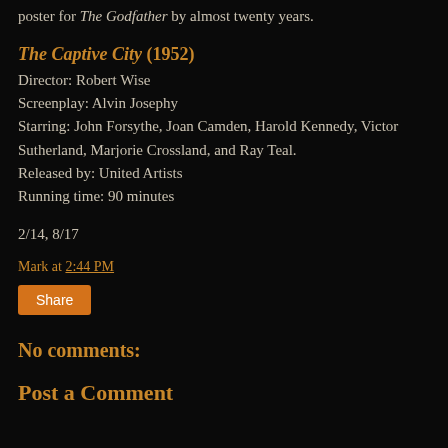poster for The Godfather by almost twenty years.
The Captive City (1952)
Director: Robert Wise
Screenplay: Alvin Josephy
Starring: John Forsythe, Joan Camden, Harold Kennedy, Victor Sutherland, Marjorie Crossland, and Ray Teal.
Released by: United Artists
Running time: 90 minutes
2/14, 8/17
Mark at 2:44 PM
Share
No comments:
Post a Comment